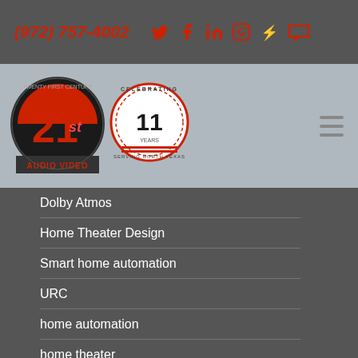(972) 757-4002
[Figure (logo): 21st Century Audio Video logo with celebrating 11 years badge]
Dolby Atmos
Home Theater Design
Smart home automation
URC
home automation
home theater
lighting control
...io
...ertainment
Contact Us
Subscribe